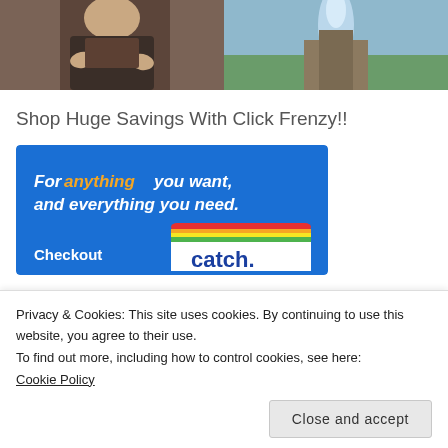[Figure (photo): Two side-by-side photos at top: left shows a person in dark clothing, right shows a geyser or water fountain outdoors]
Shop Huge Savings With Click Frenzy!!
[Figure (illustration): Click Frenzy / Catch.com advertisement banner with blue background. Text reads: 'For anything you want, and everything you need. Checkout catch.' with the Catch logo at bottom right.]
Privacy & Cookies: This site uses cookies. By continuing to use this website, you agree to their use.
To find out more, including how to control cookies, see here:
Cookie Policy
Close and accept